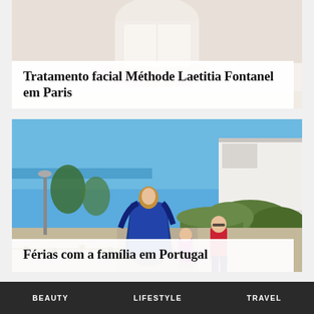[Figure (photo): Top portion of a spa/facial treatment photo showing a practitioner in white performing a facial procedure on a client]
Tratamento facial Méthode Laetitia Fontanel em Paris
[Figure (photo): Outdoor photo of a woman and two children walking on a cobblestone path with blue sky, hedges, and a white building in background — Portugal vacation]
Férias com a família em Portugal
BEAUTY   LIFESTYLE   TRAVEL